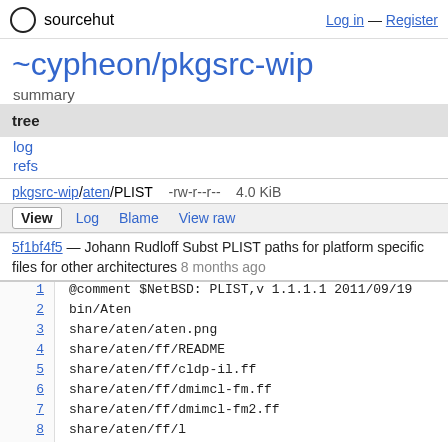sourcehut  Log in — Register
~cypheon/pkgsrc-wip
summary
tree
log
refs
pkgsrc-wip/aten/PLIST   -rw-r--r--   4.0 KiB
View  Log  Blame  View raw
5f1bf4f5 — Johann Rudloff Subst PLIST paths for platform specific files for other architectures 8 months ago
| line | code |
| --- | --- |
| 1 | @comment $NetBSD: PLIST,v 1.1.1.1 2011/09/19 |
| 2 | bin/Aten |
| 3 | share/aten/aten.png |
| 4 | share/aten/ff/README |
| 5 | share/aten/ff/cldp-il.ff |
| 6 | share/aten/ff/dmimcl-fm.ff |
| 7 | share/aten/ff/dmimcl-fm2.ff |
| 8 | share/aten/ff/l... |